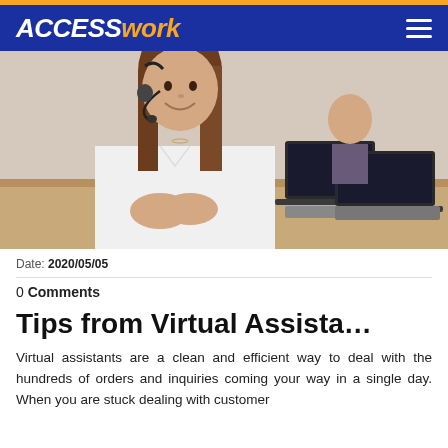ACCESS work
[Figure (photo): Woman with headset smiling and arms crossed at office desk, with another woman and laptops in background]
Date: 2020/05/05
0 Comments
Tips from Virtual Assista…
Virtual assistants are a clean and efficient way to deal with the hundreds of orders and inquiries coming your way in a single day. When you are stuck dealing with customer